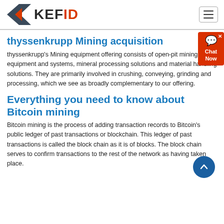KEFID (logo with navigation menu button)
thyssenkrupp Mining acquisition
thyssenkrupp's Mining equipment offering consists of open-pit mining equipment and systems, mineral processing solutions and material handling solutions. They are primarily involved in crushing, conveying, grinding and processing, which we see as broadly complementary to our offering.
Everything you need to know about Bitcoin mining
Bitcoin mining is the process of adding transaction records to Bitcoin's public ledger of past transactions or blockchain. This ledger of past transactions is called the block chain as it is of blocks. The block chain serves to confirm transactions to the rest of the network as having taken place.